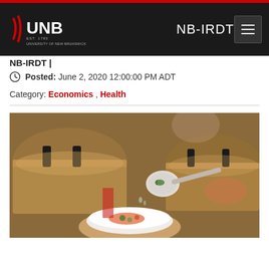UNB — University of New Brunswick | NB-IRDT
Posted: June 2, 2020 12:00:00 PM ADT
Category: Economics , Health
[Figure (photo): A person serving soup or stew from a ladle into a white bowl, with large cooking pots visible in the background. Appears to be a community kitchen or food service setting.]